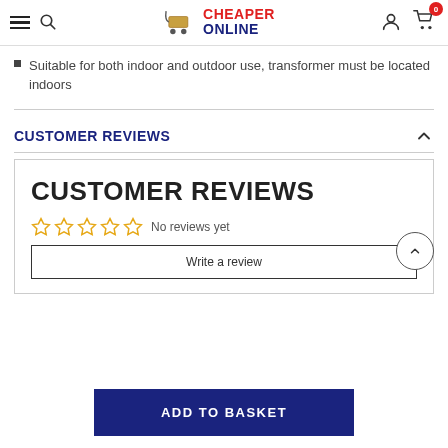Cheaper Online - navigation header with logo, search, account, and cart icons
Suitable for both indoor and outdoor use, transformer must be located indoors
CUSTOMER REVIEWS
[Figure (screenshot): Customer Reviews card with 5 empty star ratings, 'No reviews yet' text, and 'Write a review' button]
Write a review
ADD TO BASKET